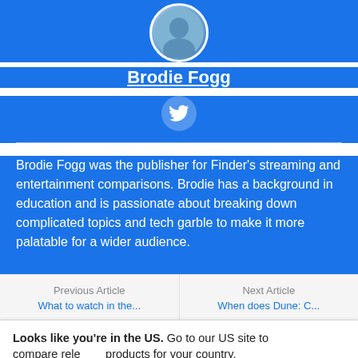[Figure (photo): Circular profile photo of Brodie Fogg at top of blue section]
Brodie Fogg
[Figure (logo): Twitter bird icon in a light blue circle]
Brodie Fogg was the publisher for Finder's streaming and entertainment comparisons. Brodie has a background in education and is passionate about breaking down complicated topics and tech garble to make it more palatable for a wider audience.
Previous Article
Next Article
Looks like you're in the US. Go to our US site to compare relevant products for your country.
Go to Finder US
No, stay on this page